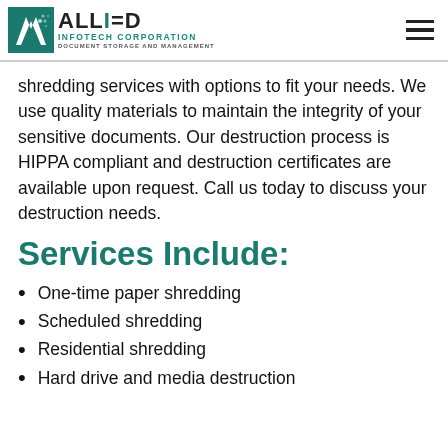Allied Infotech Corporation — Document Storage and Management
shredding services with options to fit your needs. We use quality materials to maintain the integrity of your sensitive documents. Our destruction process is HIPPA compliant and destruction certificates are available upon request. Call us today to discuss your destruction needs.
Services Include:
One-time paper shredding
Scheduled shredding
Residential shredding
Hard drive and media destruction